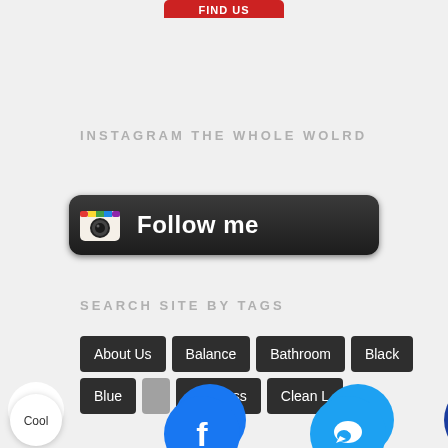[Figure (screenshot): Partial red button at top of page, cropped]
INSTAGRAM THE WHOLE WOLRD
[Figure (screenshot): Instagram Follow me button with camera icon on dark rounded rectangle background]
SEARCH SITE BY TAGS
About Us
Balance
Bathroom
Black
Blue
Business
Clean L
[Figure (screenshot): Facebook, Twitter, Pinterest social media circle icons and a blue crown circle icon at the bottom. A 'Cool' label circle on the left.]